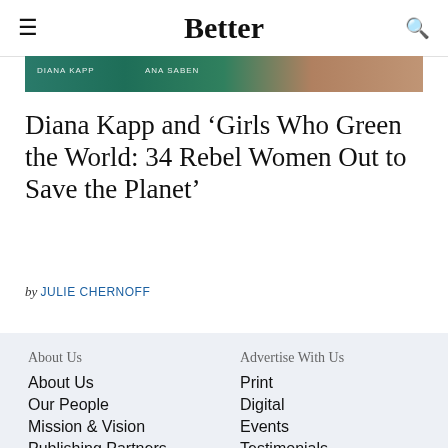Better
[Figure (photo): Cropped image strip showing two people with overlaid text labels 'DIANA KAPP' and 'ANA SABEN' on a teal/green background]
Diana Kapp and ‘Girls Who Green the World: 34 Rebel Women Out to Save the Planet’
by JULIE CHERNOFF
About Us
About Us
Our People
Mission & Vision
Publishing Partners
Advertise With Us
Print
Digital
Events
Testimonials